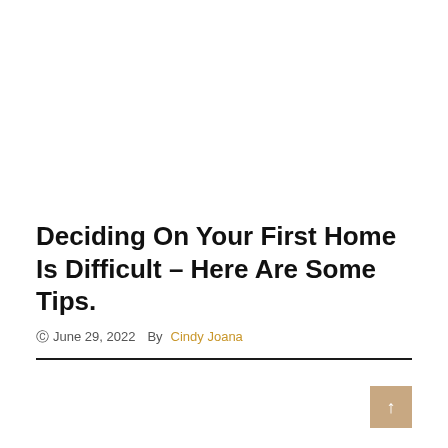Deciding On Your First Home Is Difficult – Here Are Some Tips.
June 29, 2022   By Cindy Joana
Comments are closed.